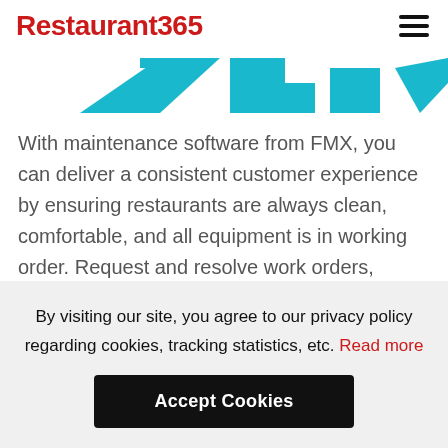Restaurant365
[Figure (illustration): Partial FMX logo in cyan/teal color, cropped at top showing abstract geometric shapes]
With maintenance software from FMX, you can deliver a consistent customer experience by ensuring restaurants are always clean, comfortable, and all equipment is in working order. Request and resolve work orders, submit facility cleaning requests, track spare parts inventory and usage, coordinate technician service routes, and schedule preventive
By visiting our site, you agree to our privacy policy regarding cookies, tracking statistics, etc. Read more
Accept Cookies